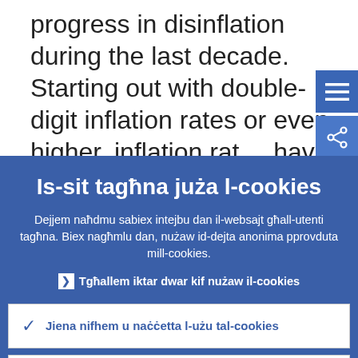progress in disinflation during the last decade. Starting out with double-digit inflation rates or even higher, inflation rates have come down to relatively low levels. Looking at more recent numbers, the
[Figure (screenshot): Blue menu button with three horizontal lines (hamburger icon) and blue share button with network/share icon, positioned top right]
Is-sit tagħna juża l-cookies
Dejjem naħdmu sabiex intejbu dan il-websajt għall-utenti tagħna. Biex nagħmlu dan, nużaw id-dejta anonima pprovduta mill-cookies.
❯ Tgħallem iktar dwar kif nużaw il-cookies
✓ Jiena nifhem u naċċetta l-użu tal-cookies
✗ Jiena ma naċċettax l-użu tal-cookies